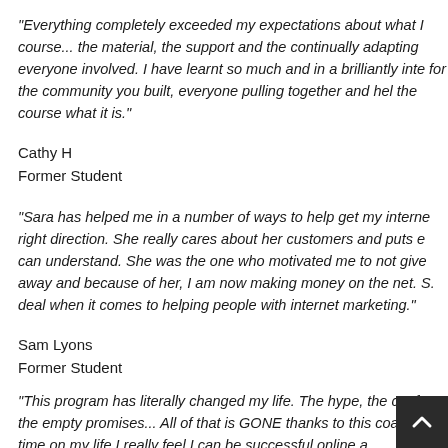“Everything completely exceeded my expectations about what I course... the material, the support and the continually adapting everyone involved. I have learnt so much and in a brilliantly inte for the community you built, everyone pulling together and hel the course what it is.”
Cathy H
Former Student
“Sara has helped me in a number of ways to help get my interne right direction. She really cares about her customers and puts e can understand. She was the one who motivated me to not give away and because of her, I am now making money on the net. S. deal when it comes to helping people with internet marketing.”
Sam Lyons
Former Student
“This program has literally changed my life. The hype, the confu the empty promises... All of that is GONE thanks to this coaching time on my life I really feel I can be successful online and hiev dream. Before this program I felt like my success was a bil.